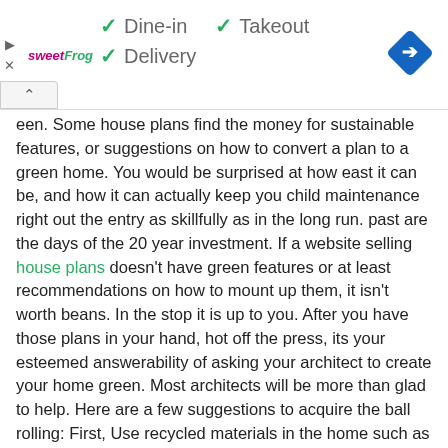[Figure (infographic): Advertisement banner for sweetFrog showing Dine-in, Takeout, and Delivery options with green checkmarks, and a blue navigation/direction diamond icon on the right.]
een. Some house plans find the money for sustainable features, or suggestions on how to convert a plan to a green home. You would be surprised at how east it can be, and how it can actually keep you child maintenance right out the entry as skillfully as in the long run. past are the days of the 20 year investment. If a website selling house plans doesn't have green features or at least recommendations on how to mount up them, it isn't worth beans. In the stop it is up to you. After you have those plans in your hand, hot off the press, its your esteemed answerability of asking your architect to create your home green. Most architects will be more than glad to help. Here are a few suggestions to acquire the ball rolling: First, Use recycled materials in the home such as recycled lumber of metal studs. Second, Install efficient appliances, such as simulation Star rated machines. Third, look into materials like low VOC's, which will growth the expose character of your home.
Here you are at our website, content above published by plougonver.com. At this time we're excited to announce that we have found a very interesting niche to share among our readers. At this